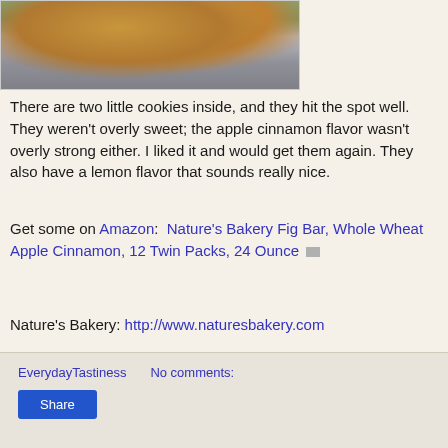[Figure (photo): Photo of Nature's Bakery fig bar cookies, appearing golden-brown, held with green background accessories on a grey surface]
There are two little cookies inside, and they hit the spot well. They weren't overly sweet; the apple cinnamon flavor wasn't overly strong either. I liked it and would get them again. They also have a lemon flavor that sounds really nice.
Get some on Amazon:  Nature's Bakery Fig Bar, Whole Wheat Apple Cinnamon, 12 Twin Packs, 24 Ounce
Nature's Bakery: http://www.naturesbakery.com
EverydayTastiness    No comments:
Share